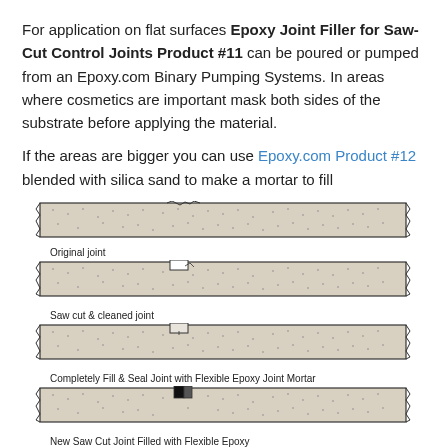For application on flat surfaces Epoxy Joint Filler for Saw-Cut Control Joints Product #11 can be poured or pumped from an Epoxy.com Binary Pumping Systems. In areas where cosmetics are important mask both sides of the substrate before applying the material.
If the areas are bigger you can use Epoxy.com Product #12 blended with silica sand to make a mortar to fill
[Figure (engineering-diagram): Four cross-section diagrams showing stages of saw-cut joint repair: 1) Original joint, 2) Saw cut & cleaned joint, 3) Completely Fill & Seal Joint with Flexible Epoxy Joint Mortar, 4) New Saw Cut Joint Filled with Flexible Epoxy]